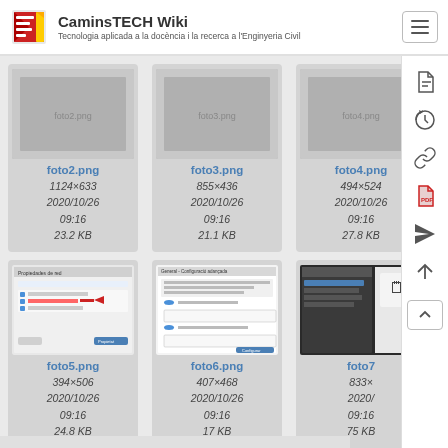CaminsTECH Wiki – Tecnologia aplicada a la docència i la recerca a l'Enginyeria Civil
[Figure (screenshot): File card for foto2.png showing dimensions 1124×633, date 2020/10/26 09:16, size 23.2 KB]
[Figure (screenshot): File card for foto3.png showing dimensions 855×436, date 2020/10/26 09:16, size 21.1 KB]
[Figure (screenshot): File card for foto4.png (partially visible) showing dimensions 494×524, date 2020/10/26 09:16, size 27.8 KB]
[Figure (screenshot): File card for foto5.png showing thumbnail of Windows dialog, dimensions 394×506, date 2020/10/26 09:16, size 24.8 KB]
[Figure (screenshot): File card for foto6.png showing thumbnail of configuration dialog, dimensions 407×468, date 2020/10/26 09:16, size 17 KB]
[Figure (screenshot): File card for foto7.png (partially visible) showing dimensions 833×, date 2020/ 09:16, size 75 KB]